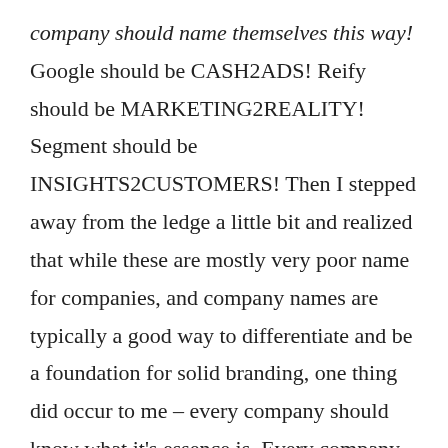company should name themselves this way! Google should be CASH2ADS! Reify should be MARKETING2REALITY! Segment should be INSIGHTS2CUSTOMERS! Then I stepped away from the ledge a little bit and realized that while these are mostly very poor name for companies, and company names are typically a good way to differentiate and be a foundation for solid branding, one thing did occur to me – every company should know what it's essence is. Every company should have a 2Name.